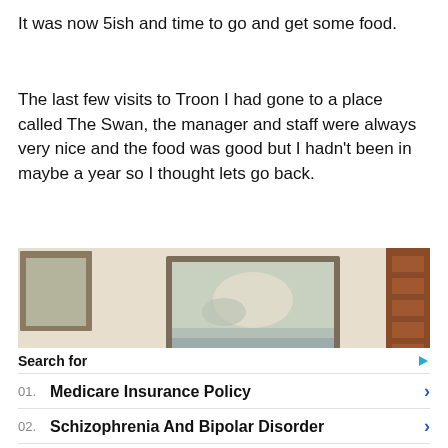It was now 5ish and time to go and get some food.
The last few visits to Troon I had gone to a place called The Swan, the manager and staff were always very nice and the food was good but I hadn't been in maybe a year so I thought lets go back.
[Figure (photo): Interior of a restaurant showing wooden chairs, a wall-mounted landscape painting in a wooden frame, and a table with a small red flower vase and white sugar bowl on a patterned tablecloth.]
Search for
01. Medicare Insurance Policy
02. Schizophrenia And Bipolar Disorder
Yahoo! Search | Sponsored